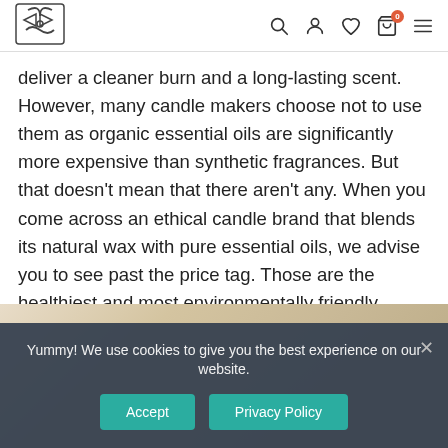Navigation header with logo and icons (search, account, wishlist, cart with badge 0, menu)
deliver a cleaner burn and a long-lasting scent. However, many candle makers choose not to use them as organic essential oils are significantly more expensive than synthetic fragrances. But that doesn't mean that there aren't any. When you come across an ethical candle brand that blends its natural wax with pure essential oils, we advise you to see past the price tag. Those are the healthiest and most environmentally friendly candle options you can potentially find.
[Figure (photo): Partial photo of candles or natural decorative elements in warm beige/tan tones, partially obscured by cookie consent banner]
Yummy! We use cookies to give you the best experience on our website.
Accept  Privacy Policy